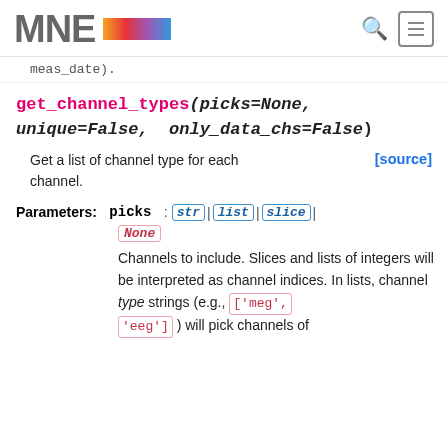MNE [logo]
meas_date).
get_channel_types(picks=None, unique=False, only_data_chs=False)
Get a list of channel type for each channel.
[source]
Parameters: picks : str | list | slice | None
Channels to include. Slices and lists of integers will be interpreted as channel indices. In lists, channel type strings (e.g., ['meg', 'eeg'] ) will pick channels of